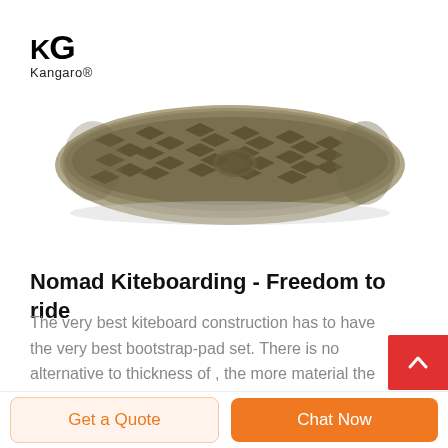[Figure (logo): KG Kangaro brand logo with large stylized K and G letters above the text Kangaro with a registered trademark symbol]
[Figure (photo): Bottom sole of a boot/shoe showing khaki/olive colored rubber sole with aggressive tread pattern and chevron lugs, viewed from below]
Nomad Kiteboarding - Freedom to ride
The very best kiteboard construction has to have the very best bootstrap-pad set. There is no alternative to thickness of , the more material the better and safer is the riders comfort. The Nomad pads are 40mm thick using various density